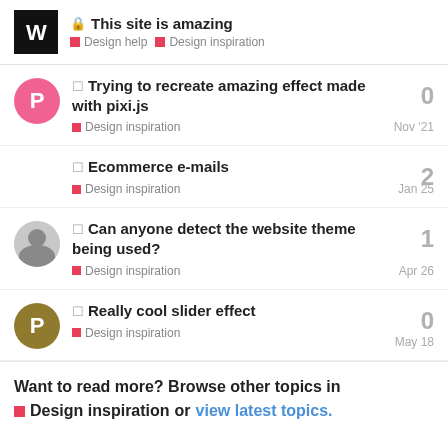This site is amazing — Design help, Design inspiration
Trying to recreate amazing effect made with pixi.js — Design inspiration — Nov '21 — 0 replies
Ecommerce e-mails — Design inspiration — Jan 25 — 2 replies
Can anyone detect the website theme being used? — Design inspiration — Apr 26 — 1 reply
Really cool slider effect — Design inspiration — May 18 — 0 replies
Want to read more? Browse other topics in Design inspiration or view latest topics.